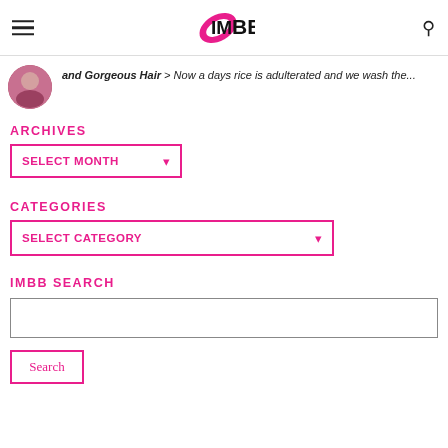IMBB
and Gorgeous Hair > Now a days rice is adulterated and we wash the...
ARCHIVES
SELECT MONTH
CATEGORIES
SELECT CATEGORY
IMBB SEARCH
Search